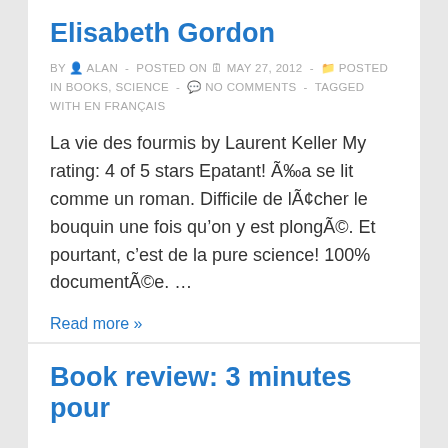Elisabeth Gordon
BY ALAN - POSTED ON MAY 27, 2012 - POSTED IN BOOKS, SCIENCE - NO COMMENTS - TAGGED WITH EN FRANÇAIS
La vie des fourmis by Laurent Keller My rating: 4 of 5 stars Epatant! Ã‡a se lit comme un roman. Difficile de lÃ¢cher le bouquin une fois qu'on y est plongÃ©. Et pourtant, c'est de la pure science! 100% documentÃ©e. …
Read more »
Book review: 3 minutes pour